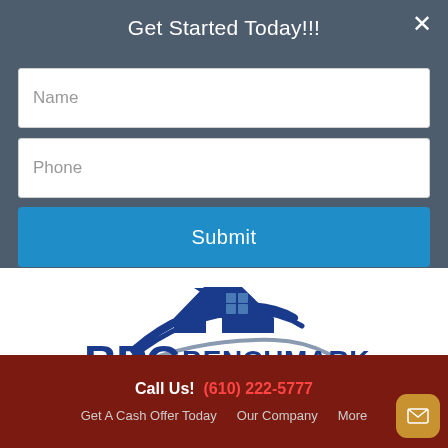Get Started Today!!!
Name
Phone
Submit
[Figure (logo): BPG Benchmark Properties Group, LLC - The Total Home Solution logo with house/roof graphic in blue and grey]
Call Us! (610) 222-5777
Get A Cash Offer Today  Our Company  More